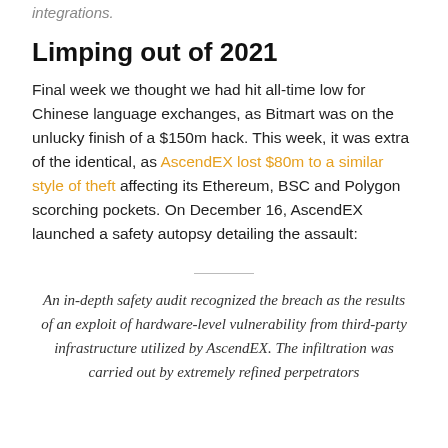integrations.
Limping out of 2021
Final week we thought we had hit all-time low for Chinese language exchanges, as Bitmart was on the unlucky finish of a $150m hack. This week, it was extra of the identical, as AscendEX lost $80m to a similar style of theft affecting its Ethereum, BSC and Polygon scorching pockets. On December 16, AscendEX launched a safety autopsy detailing the assault:
An in-depth safety audit recognized the breach as the results of an exploit of hardware-level vulnerability from third-party infrastructure utilized by AscendEX. The infiltration was carried out by extremely refined perpetrators